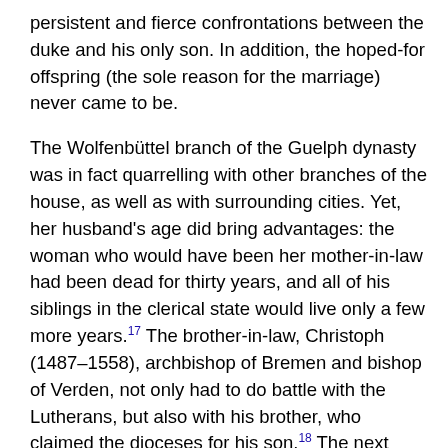persistent and fierce confrontations between the duke and his only son. In addition, the hoped-for offspring (the sole reason for the marriage) never came to be.
The Wolfenbüttel branch of the Guelph dynasty was in fact quarrelling with other branches of the house, as well as with surrounding cities. Yet, her husband's age did bring advantages: the woman who would have been her mother-in-law had been dead for thirty years, and all of his siblings in the clerical state would live only a few more years.17 The brother-in-law, Christoph (1487–1558), archbishop of Bremen and bishop of Verden, not only had to do battle with the Lutherans, but also with his brother, who claimed the dioceses for his son.18 The next brother-in-law, Georg (1494–1566), after his nephew resigned as hereditary prince, became bishop of Minden in 1554, then in 1558 his brother's successor in Bremen and Verden, and led a cultured life while holding several sinecures. Her brother-in-law Wilhelm (1514–1557), who had been held prisoner by Duke Heinrich for years, was able (thanks to